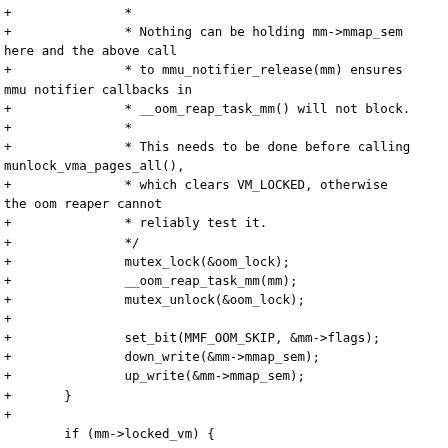+               *
+               * Nothing can be holding mm->mmap_sem here and the above call
+               * to mmu_notifier_release(mm) ensures mmu notifier callbacks in
+               * __oom_reap_task_mm() will not block.
+               *
+               * This needs to be done before calling munlock_vma_pages_all(),
+               * which clears VM_LOCKED, otherwise the oom reaper cannot
+               * reliably test it.
+               */
+               mutex_lock(&oom_lock);
+               __oom_reap_task_mm(mm);
+               mutex_unlock(&oom_lock);
+
+               set_bit(MMF_OOM_SKIP, &mm->flags);
+               down_write(&mm->mmap_sem);
+               up_write(&mm->mmap_sem);
+       }
+
        if (mm->locked_vm) {
                vma = mm->mmap;
                while (vma) {
@@ -3036,24 +3062,6 @@ void exit_mmap(struct mm_struct *mm)
        /* update_hiwater_rss(mm) here? but nobody should be looking */
        /* Use -1 here to ensure all VMAs in the mm are